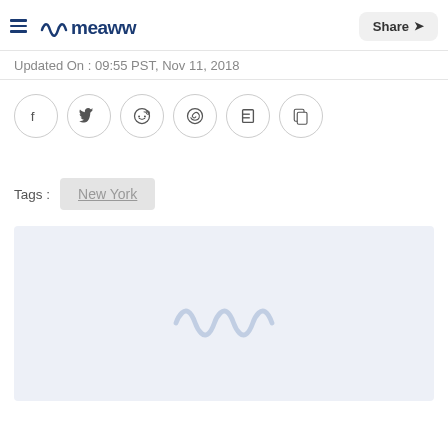Meaww — Share
Updated On : 09:55 PST, Nov 11, 2018
[Figure (other): Social sharing icons: Facebook, Twitter, Reddit, WhatsApp, Flipboard, Copy link]
Tags :  New York
[Figure (other): Advertisement or content placeholder area with faint Meaww logo watermark]